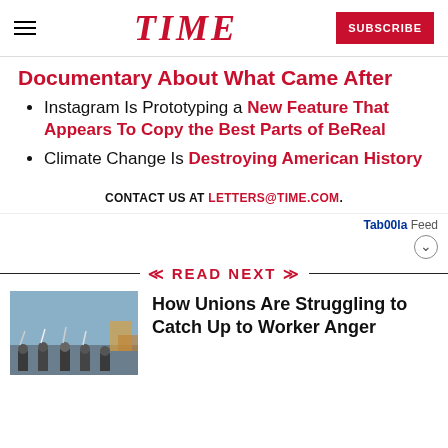TIME — SUBSCRIBE
Documentary About What Came After
Instagram Is Prototyping a New Feature That Appears To Copy the Best Parts of BeReal
Climate Change Is Destroying American History
CONTACT US AT LETTERS@TIME.COM.
Taboola Feed
READ NEXT
[Figure (photo): People holding signs, appearing to be union workers on strike outdoors]
How Unions Are Struggling to Catch Up to Worker Anger